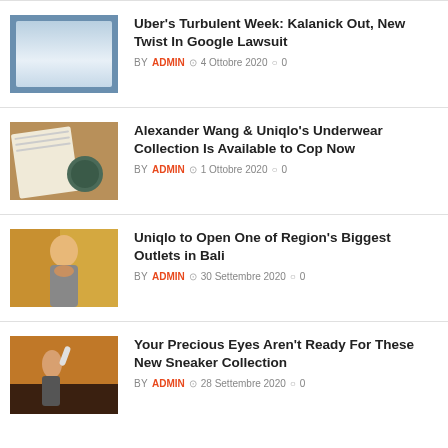[Figure (photo): Laptop with analytics dashboard on screen, on a desk]
Uber's Turbulent Week: Kalanick Out, New Twist In Google Lawsuit
BY ADMIN  4 Ottobre 2020  0
[Figure (photo): Open book and coffee mug on a wooden table]
Alexander Wang & Uniqlo's Underwear Collection Is Available to Cop Now
BY ADMIN  1 Ottobre 2020  0
[Figure (photo): Young woman in a yellow background touching her face]
Uniqlo to Open One of Region's Biggest Outlets in Bali
BY ADMIN  30 Settembre 2020  0
[Figure (photo): Person drinking water outdoors at sunset]
Your Precious Eyes Aren't Ready For These New Sneaker Collection
BY ADMIN  28 Settembre 2020  0